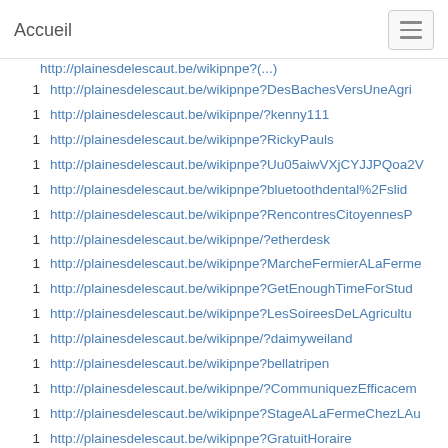Accueil
1  http://plainesdelescaut.be/wikipnpe?DesBachesVersUneAgri
1  http://plainesdelescaut.be/wikipnpe/?kenny111
1  http://plainesdelescaut.be/wikipnpe?RickyPauls
1  http://plainesdelescaut.be/wikipnpe?Uu05aiwVXjCYJJPQoa2V
1  http://plainesdelescaut.be/wikipnpe?bluetoothdental%2Fslid
1  http://plainesdelescaut.be/wikipnpe?RencontresCitoyennesP
1  http://plainesdelescaut.be/wikipnpe/?etherdesk
1  http://plainesdelescaut.be/wikipnpe?MarcheFermierALaFerme
1  http://plainesdelescaut.be/wikipnpe?GetEnoughTimeForStud
1  http://plainesdelescaut.be/wikipnpe?LesSoireesDeLAgricultu
1  http://plainesdelescaut.be/wikipnpe/?daimyweiland
1  http://plainesdelescaut.be/wikipnpe?bellatripen
1  http://plainesdelescaut.be/wikipnpe/?CommuniquezEfficacem
1  http://plainesdelescaut.be/wikipnpe?StageALaFermeChezLAu
1  http://plainesdelescaut.be/wikipnpe?GratuitHoraire
1  http://plainesdelescaut.be/wikipnpe/?MarcheDesCoquilles4
1  http://dudoser.com/user/EdisonO2363/
1  http://plainesdelescaut.be/wikipnpe?JardinOuvertChateauDe
1  http://plainesdelescaut.be/wikipnpe?StageDevenirUneFilleRo
1  http://plainesdelescaut.be/wikipnpe?CercleDePleineLuneEn